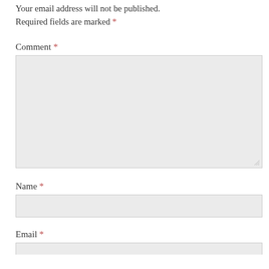Your email address will not be published. Required fields are marked *
Comment *
[Figure (other): Comment textarea input box (empty, light gray background)]
Name *
[Figure (other): Name text input box (empty, light gray background)]
Email *
[Figure (other): Email text input box (partially visible, light gray background)]